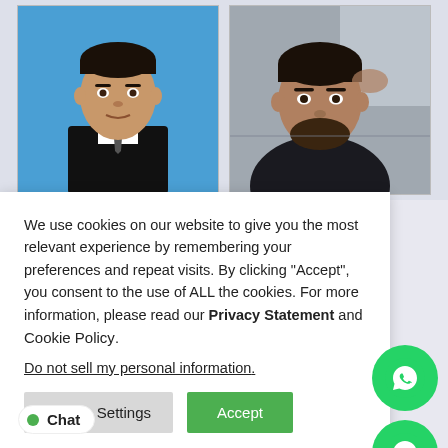[Figure (photo): Two portrait photos side by side: left is a formal ID/passport-style photo of a man in a suit against a blue background; right is a casual photo of a man sitting in a car.]
We use cookies on our website to give you the most relevant experience by remembering your preferences and repeat visits. By clicking “Accept”, you consent to the use of ALL the cookies. For more information, please read our Privacy Statement and Cookie Policy.
Do not sell my personal information.
Cookie Settings
Accept
Chat